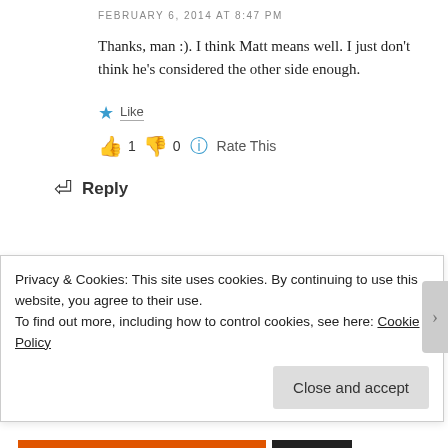FEBRUARY 6, 2014 AT 8:47 PM
Thanks, man :). I think Matt means well. I just don't think he's considered the other side enough.
Like
👍 1 👎 0 ℹ Rate This
Reply
anna mosca
APRIL 3, 2014 AT 12:01 AM
Privacy & Cookies: This site uses cookies. By continuing to use this website, you agree to their use.
To find out more, including how to control cookies, see here: Cookie Policy
Close and accept